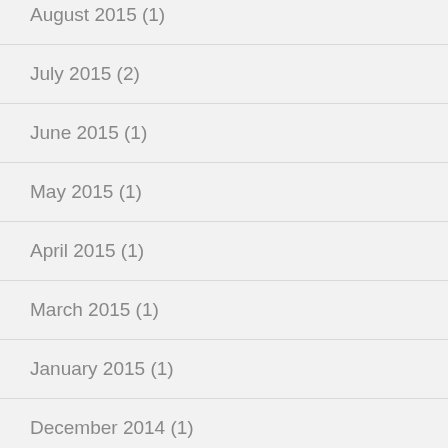August 2015 (1)
July 2015 (2)
June 2015 (1)
May 2015 (1)
April 2015 (1)
March 2015 (1)
January 2015 (1)
December 2014 (1)
November 2014 (1)